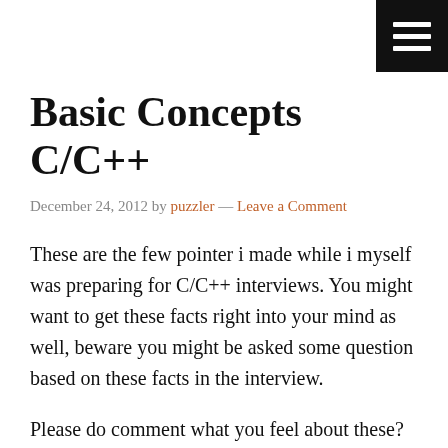[Figure (other): Hamburger menu icon — three white horizontal lines on black square background, top-right corner]
Basic Concepts C/C++
December 24, 2012 by puzzler — Leave a Comment
These are the few pointer i made while i myself was preparing for C/C++ interviews. You might want to get these facts right into your mind as well, beware you might be asked some question based on these facts in the interview.
Please do comment what you feel about these? Do you agree with these?
If you have some more pointers to share with puzzlersworld.com user's, please don't hesitate.